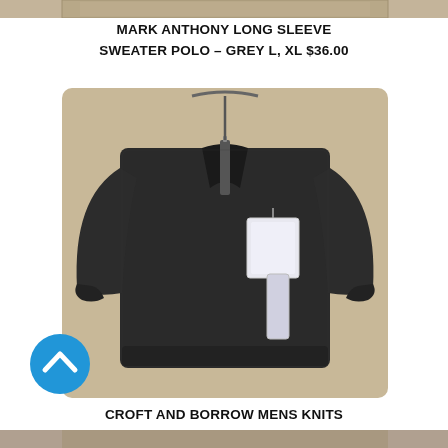[Figure (photo): Partial cropped view of a clothing item at top of page (top strip)]
MARK ANTHONY LONG SLEEVE SWEATER POLO – GREY L, XL $36.00
[Figure (photo): Dark grey men's quarter-zip sweater/pullover hanging on a hanger against a beige wall, with price tags attached]
[Figure (other): Blue circular scroll-up button with upward chevron arrow]
CROFT AND BORROW MENS KNITS GREY 3/4 ZIP L $26.00
[Figure (photo): Partial cropped view of another clothing item at bottom of page (bottom strip)]